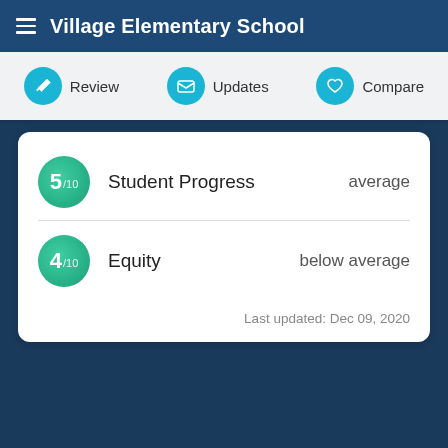Village Elementary School
[Figure (screenshot): Navigation bar with Review, Updates, and Compare icons]
| Score | Category | Rating |
| --- | --- | --- |
| 5/10 | Student Progress | average |
| 4/10 | Equity | below average |
Last updated: Dec 09, 2020